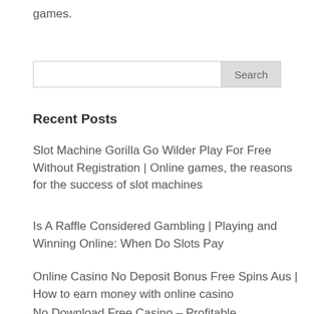games.
[Figure (other): Search bar with text input and Search button]
Recent Posts
Slot Machine Gorilla Go Wilder Play For Free Without Registration | Online games, the reasons for the success of slot machines
Is A Raffle Considered Gambling | Playing and Winning Online: When Do Slots Pay
Online Casino No Deposit Bonus Free Spins Aus | How to earn money with online casino
No Download Free Casino – Profitable